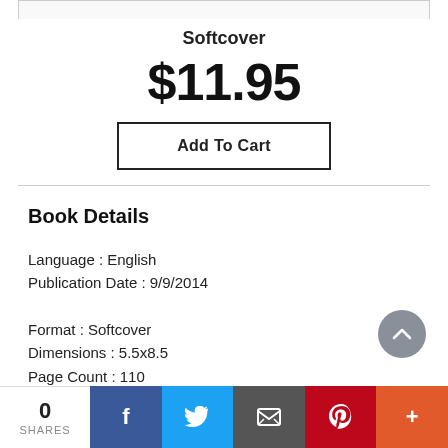Softcover
$11.95
Add To Cart
Book Details
Language : English
Publication Date : 9/9/2014
Format : Softcover
Dimensions : 5.5x8.5
Page Count : 110
0
SHARES